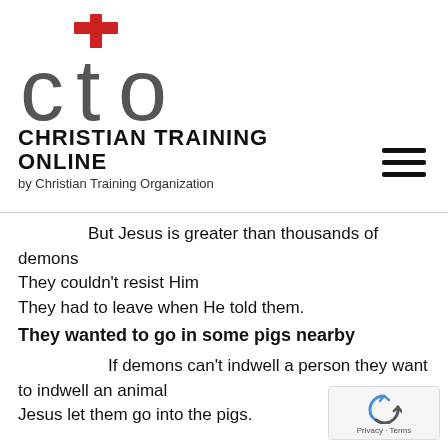[Figure (logo): CTO logo with red cross above 'cto' in large grey letters]
CHRISTIAN TRAINING ONLINE
by Christian Training Organization
[Figure (other): Hamburger menu icon (three horizontal lines)]
But Jesus is greater than thousands of demons
They couldn't resist Him
They had to leave when He told them.
They wanted to go in some pigs nearby
If demons can't indwell a person they want to indwell an animal
Jesus let them go into the pigs.